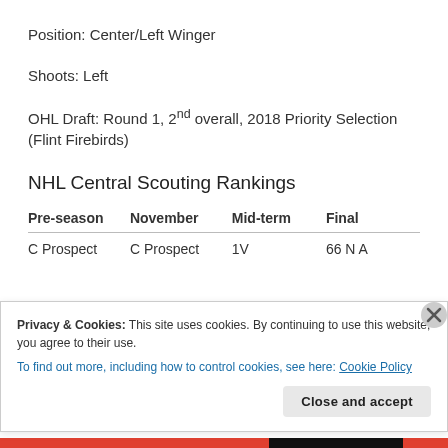Position: Center/Left Winger
Shoots: Left
OHL Draft: Round 1, 2nd overall, 2018 Priority Selection (Flint Firebirds)
NHL Central Scouting Rankings
| Pre-season | November | Mid-term | Final |
| --- | --- | --- | --- |
| C Prospect | C Prospect | 1V | 66 N A |
Privacy & Cookies: This site uses cookies. By continuing to use this website, you agree to their use.
To find out more, including how to control cookies, see here: Cookie Policy
Close and accept